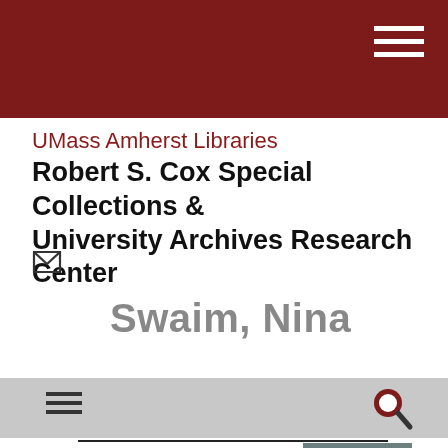UMass Amherst Libraries Robert S. Cox Special Collections & University Archives Research Center
Swaim, Nina
Nina Swaim Papers
Finding aid